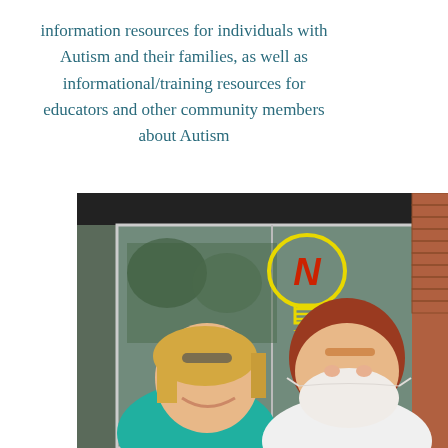information resources for individuals with Autism and their families, as well as informational/training resources for educators and other community members about Autism
[Figure (photo): Two women posing for a selfie in front of a building entrance with a glass door. A yellow lightbulb logo with the letter N in red is visible on the glass door. The word 'THE' is below the logo. On the left is a smiling woman with short blonde hair wearing a teal/turquoise sleeveless top. On the right is a woman with long reddish-brown hair wearing a white face mask and a white jacket. Brick wall visible on the right side.]